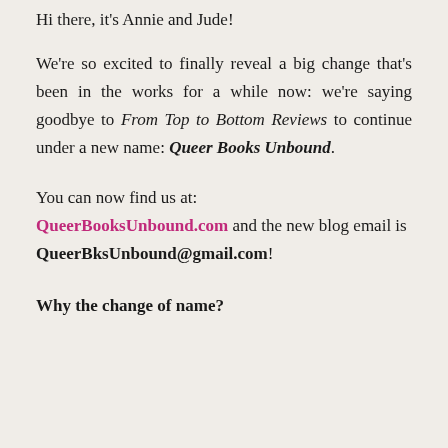Hi there, it's Annie and Jude!
We're so excited to finally reveal a big change that's been in the works for a while now: we're saying goodbye to From Top to Bottom Reviews to continue under a new name: Queer Books Unbound.
You can now find us at: QueerBooksUnbound.com and the new blog email is QueerBksUnbound@gmail.com!
Why the change of name?